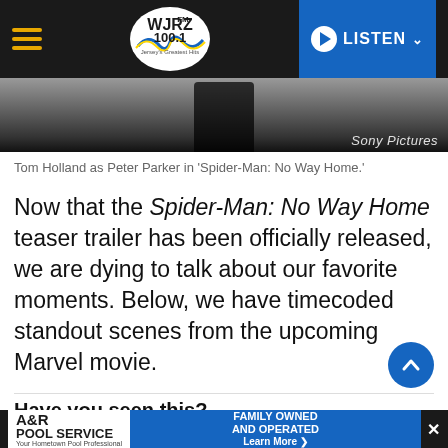WJRZ FM 100.1 - Jersey's Greatest Hits | LISTEN
[Figure (photo): Tom Holland as Spider-Man / Peter Parker in dark suit, with Sony Pictures watermark]
Tom Holland as Peter Parker in 'Spider-Man: No Way Home.'
Now that the Spider-Man: No Way Home teaser trailer has been officially released, we are dying to talk about our favorite moments. Below, we have timecoded standout scenes from the upcoming Marvel movie.
Have you seen this?
GIANTS RELEASE ILB BLAKE MARTINEZ
A&R POOL SERVICE Your Hometown Pool Professional | FAMILY OWNED AND OPERATED Learn More